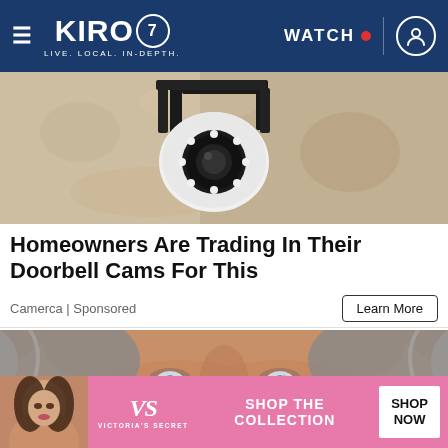KIRO 7 — LIVE. LOCAL. IN-DEPTH. | WATCH
[Figure (photo): Security camera mounted on a wall — a white dome camera with black metal bracket against a textured stone wall]
Homeowners Are Trading In Their Doorbell Cams For This
Camerca | Sponsored
Learn More
[Figure (photo): Close-up face of an older man with gray hair, blue eyes, and weathered skin]
[Figure (photo): Victoria's Secret advertisement banner: woman model on left, VS logo and text 'SHOP THE COLLECTION', button 'SHOP NOW']